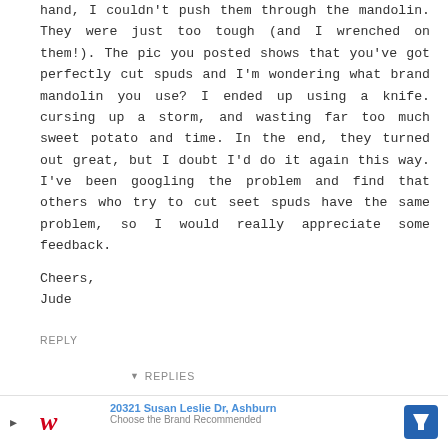hand, I couldn't push them through the mandolin. They were just too tough (and I wrenched on them!). The pic you posted shows that you've got perfectly cut spuds and I'm wondering what brand mandolin you use? I ended up using a knife. cursing up a storm, and wasting far too much sweet potato and time. In the end, they turned out great, but I doubt I'd do it again this way. I've been googling the problem and find that others who try to cut seet spuds have the same problem, so I would really appreciate some feedback.
Cheers,
Jude
REPLY
▼ REPLIES
17apart
JANUARY 14, 2014 AT 8:03 AM
Believe it or not I use a pretty inexpensive one. I
[Figure (other): Advertisement banner with Walgreens logo, address '20321 Susan Leslie Dr, Ashburn', text 'Choose the Brand Recommended', and a blue navigation arrow icon]